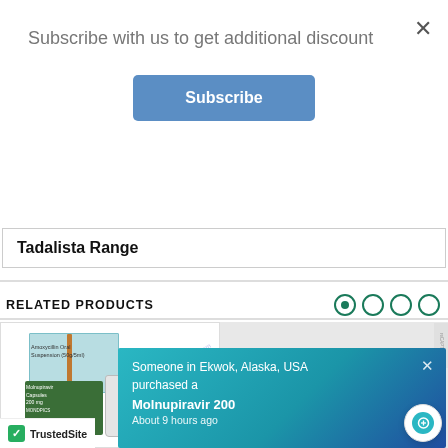Subscribe with us to get additional discount
Subscribe
Tadalista Range
RELATED PRODUCTS
[Figure (photo): Product image showing Amoxycillin Oral Suspension and Molnupiravir Capsules 200mg box with bottle]
[Figure (photo): Second product card with grey background]
Someone in Ekwok, Alaska, USA purchased a
Molnupiravir 200
About 9 hours ago
TrustedSite